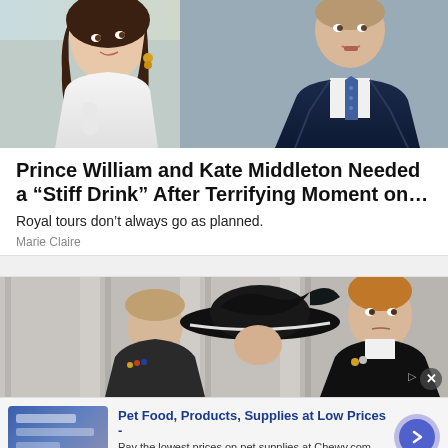[Figure (photo): Photo of Kate Middleton in white outfit on left and Prince William in navy suit with blue tie on right, cropped at upper body]
Prince William and Kate Middleton Needed a “Stiff Drink” After Terrifying Moment on…
Royal tours don’t always go as planned.
Marie Claire
[Figure (photo): Photo of Prince Charles, Camilla in black hat, and Prince Harry in military uniform standing outdoors]
[Figure (other): Advertisement banner for Chewy.com: Pet Food, Products, Supplies at Low Prices - Pay the lowest prices on pet supplies at Chewy.com]